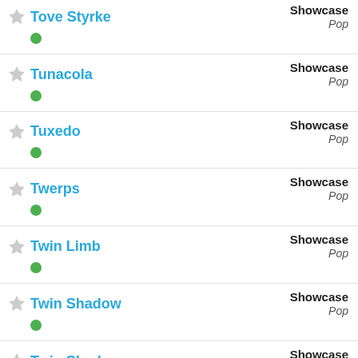Tove Styrke | Showcase | Pop
Tunacola | Showcase | Pop
Tuxedo | Showcase | Pop
Twerps | Showcase | Pop
Twin Limb | Showcase | Pop
Twin Shadow | Showcase | Pop
Twin Shadow | Showcase | Pop